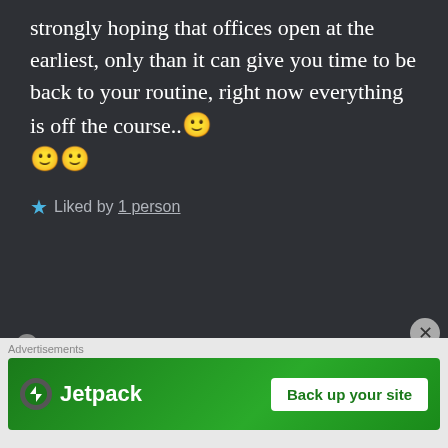strongly hoping that offices open at the earliest, only than it can give you time to be back to your routine, right now everything is off the course..🙂🙂🙂
★ Liked by 1 person
THE BOLD GIRL says: Reply
Sep 5, 2020 at 12:36 AM
Nopeeee.... Opening offices is
Advertisements
[Figure (screenshot): Jetpack advertisement banner with 'Back up your site' button]